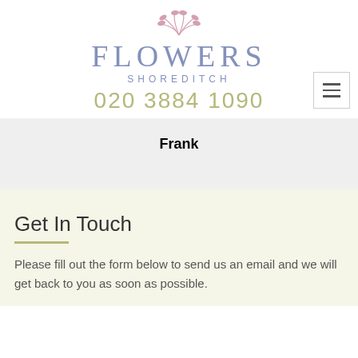[Figure (logo): Flowers Shoreditch floral shop logo with botanical sprig above text, phone number 020 3884 1090, and hamburger menu icon]
Frank
Get In Touch
Please fill out the form below to send us an email and we will get back to you as soon as possible.